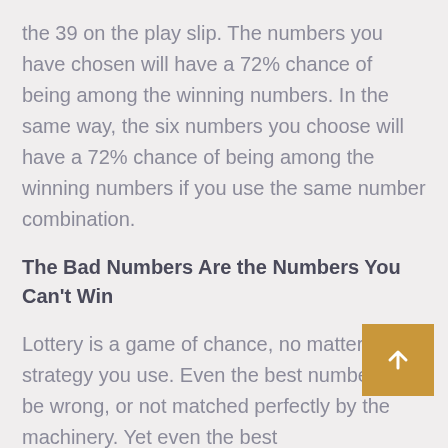the 39 on the play slip. The numbers you have chosen will have a 72% chance of being among the winning numbers. In the same way, the six numbers you choose will have a 72% chance of being among the winning numbers if you use the same number combination.
The Bad Numbers Are the Numbers You Can't Win
Lottery is a game of chance, no matter what strategy you use. Even the best numbers can be wrong, or not matched perfectly by the machinery. Yet even the best